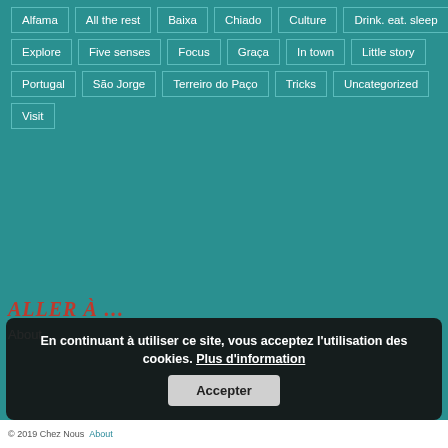Alfama
All the rest
Baixa
Chiado
Culture
Drink. eat. sleep
Explore
Five senses
Focus
Graça
In town
Little story
Portugal
São Jorge
Terreiro do Paço
Tricks
Uncategorized
Visit
ALLER À …
About
En continuant à utiliser ce site, vous acceptez l'utilisation des cookies. Plus d'information
© 2019 Chez Nous … About